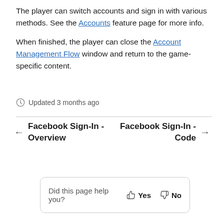The player can switch accounts and sign in with various methods. See the Accounts feature page for more info.
When finished, the player can close the Account Management Flow window and return to the game-specific content.
Updated 3 months ago
← Facebook Sign-In - Overview     Facebook Sign-In - Code →
Did this page help you?  👍 Yes  👎 No